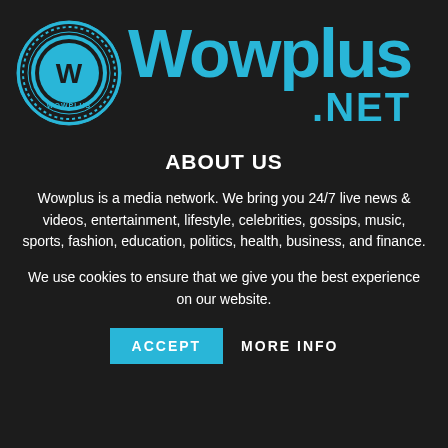[Figure (logo): Wowplus.net logo with circular W emblem and large blue WOWPLUS.NET text]
ABOUT US
Wowplus is a media network. We bring you 24/7 live news & videos, entertainment, lifestyle, celebrities, gossips, music, sports, fashion, education, politics, health, business, and finance.
We use cookies to ensure that we give you the best experience on our website.
ACCEPT   MORE INFO